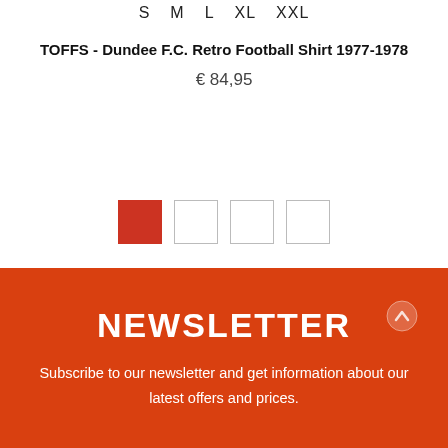S   M   L   XL   XXL
TOFFS - Dundee F.C. Retro Football Shirt 1977-1978
€ 84,95
[Figure (other): Four thumbnail image selectors, first one highlighted in red/active, three empty white squares]
NEWSLETTER
Subscribe to our newsletter and get information about our latest offers and prices.